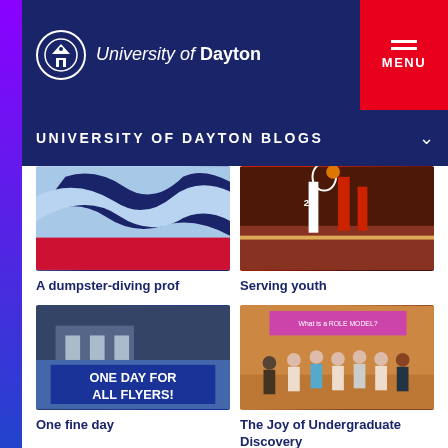University of Dayton — MENU
UNIVERSITY OF DAYTON BLOGS
[Figure (photo): University of Dayton logo graphic with blue and red colors]
A dumpster-diving prof
[Figure (photo): Basketball game action photo showing players jumping for the ball]
Serving youth
[Figure (photo): Sign reading ONE DAY FOR ALL FLYERS!]
One fine day
[Figure (photo): Group photo of students and faculty at an event with a 'What is a ROLE MODEL' banner]
The Joy of Undergraduate Discovery